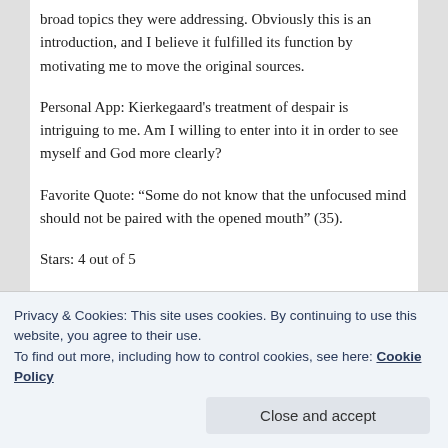broad topics they were addressing. Obviously this is an introduction, and I believe it fulfilled its function by motivating me to move the original sources.
Personal App: Kierkegaard's treatment of despair is intriguing to me. Am I willing to enter into it in order to see myself and God more clearly?
Favorite Quote: “Some do not know that the unfocused mind should not be paired with the opened mouth” (35).
Stars: 4 out of 5
It would be worth another read and I would recommend it
Privacy & Cookies: This site uses cookies. By continuing to use this website, you agree to their use.
To find out more, including how to control cookies, see here: Cookie Policy
Other books along this theme would be: